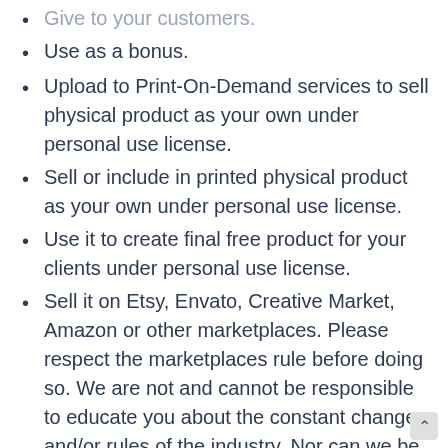Give to your customers.
Use as a bonus.
Upload to Print-On-Demand services to sell physical product as your own under personal use license.
Sell or include in printed physical product as your own under personal use license.
Use it to create final free product for your clients under personal use license.
Sell it on Etsy, Envato, Creative Market, Amazon or other marketplaces. Please respect the marketplaces rule before doing so. We are not and cannot be responsible to educate you about the constant change and/or rules of the industry. Nor can we be held responsible for any loss or issues as a result of using this content. If you choose to s in any marketplace, it is your responsibility to do